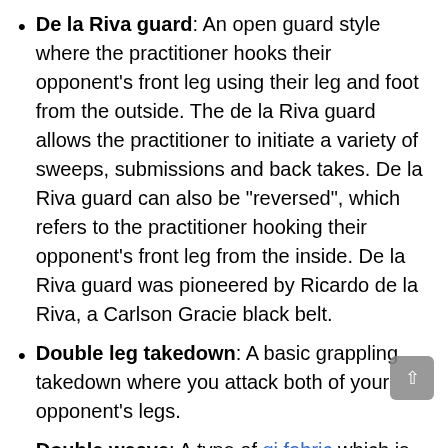De la Riva guard: An open guard style where the practitioner hooks their opponent's front leg using their leg and foot from the outside. The de la Riva guard allows the practitioner to initiate a variety of sweeps, submissions and back takes. De la Riva guard can also be "reversed", which refers to the practitioner hooking their opponent's front leg from the inside. De la Riva guard was pioneered by Ricardo de la Riva, a Carlson Gracie black belt.
Double leg takedown: A basic grappling takedown where you attack both of your opponent's legs.
Double weave: A type of gi fabric which is denser and heavier than regular single weave. It's rarely used in BJJ but is still regularly used in Judo.
D'Arce choke: An arm triangle